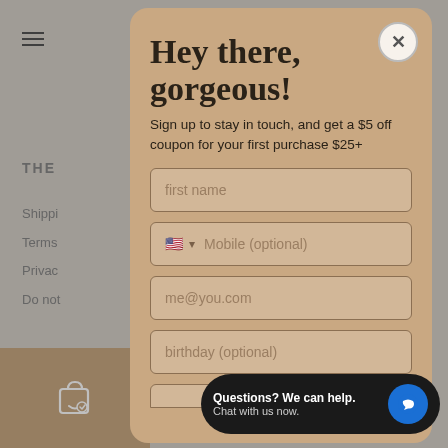[Figure (screenshot): Background of a shopping website with navigation menu icon, search icon, cart icon, and partial link list including Shipping, Terms, Privacy, Do not sell links. Bottom left tan area with shopping bag icon.]
[Figure (screenshot): Modal popup with tan/brown background containing headline 'Hey there, gorgeous!', subtitle text about $5 off coupon, and form fields for first name, mobile (optional), email, birthday (optional), and a close X button.]
Hey there, gorgeous!
Sign up to stay in touch, and get a $5 off coupon for your first purchase $25+
[Figure (screenshot): Chat widget in bottom right: black rounded rectangle with text 'Questions? We can help.' and 'Chat with us now.' and a blue circle icon with speech bubble.]